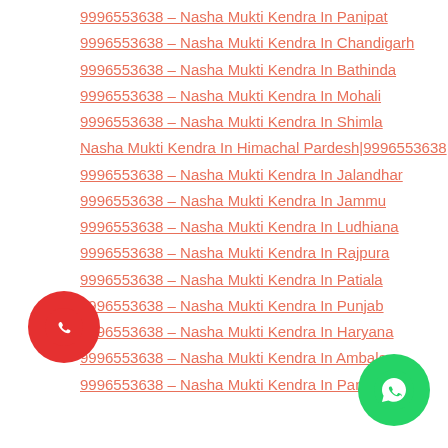9996553638 – Nasha Mukti Kendra In Panipat
9996553638 – Nasha Mukti Kendra In Chandigarh
9996553638 – Nasha Mukti Kendra In Bathinda
9996553638 – Nasha Mukti Kendra In Mohali
9996553638 – Nasha Mukti Kendra In Shimla
Nasha Mukti Kendra In Himachal Pardesh|9996553638
9996553638 – Nasha Mukti Kendra In Jalandhar
9996553638 – Nasha Mukti Kendra In Jammu
9996553638 – Nasha Mukti Kendra In Ludhiana
9996553638 – Nasha Mukti Kendra In Rajpura
9996553638 – Nasha Mukti Kendra In Patiala
9996553638 – Nasha Mukti Kendra In Punjab
9996553638 – Nasha Mukti Kendra In Haryana
9996553638 – Nasha Mukti Kendra In Ambala
9996553638 – Nasha Mukti Kendra In Panipat